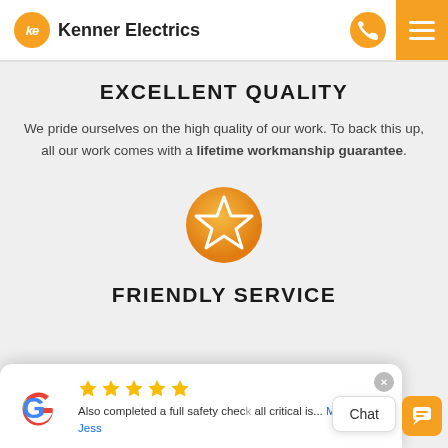Kenner Electrics
EXCELLENT QUALITY
We pride ourselves on the high quality of our work. To back this up, all our work comes with a lifetime workmanship guarantee.
[Figure (illustration): Orange circle with white star outline icon]
FRIENDLY SERVICE
[Figure (screenshot): Google review popup with 4 yellow stars, text: Also completed a full safety check... all critical is... More. Author: Jess]
team. On the job and after you're safe with us